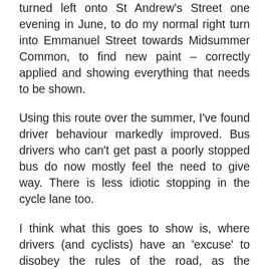turned left onto St Andrew's Street one evening in June, to do my normal right turn into Emmanuel Street towards Midsummer Common, to find new paint – correctly applied and showing everything that needs to be shown.
Using this route over the summer, I've found driver behaviour markedly improved. Bus drivers who can't get past a poorly stopped bus do now mostly feel the need to give way. There is less idiotic stopping in the cycle lane too.
I think what this goes to show is, where drivers (and cyclists) have an 'excuse' to disobey the rules of the road, as the markings or signage are so poor that ignorance probably is a defence, actually they will disobey. The simple expedient of repainting faded road markings surely has to be a pretty cheap way for our cash-strapped councils to do some very effective fixes. I